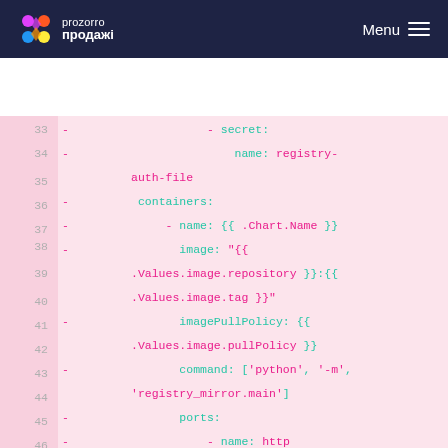prozorro продажі — Menu
[Figure (screenshot): Code snippet showing YAML configuration lines 33-48 with syntax highlighting on pink background. Lines show secret, name: registry-auth-file, containers, name: Chart.Name, image, imagePullPolicy, command, ports, name: http, containerPort: 80, protocol: TCP, volumeMounts, name: registry-config, mountPath: /config/, name: secrets-volume, mountPath: /secrets/]